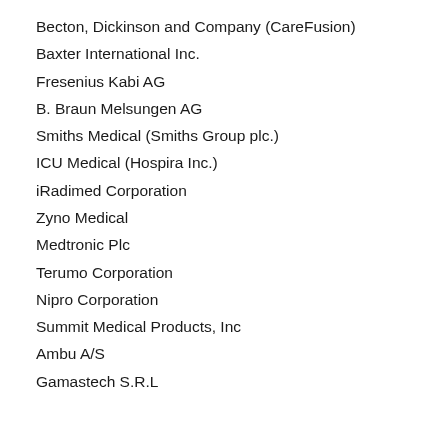Becton, Dickinson and Company (CareFusion)
Baxter International Inc.
Fresenius Kabi AG
B. Braun Melsungen AG
Smiths Medical (Smiths Group plc.)
ICU Medical (Hospira Inc.)
iRadimed Corporation
Zyno Medical
Medtronic Plc
Terumo Corporation
Nipro Corporation
Summit Medical Products, Inc
Ambu A/S
Gamastech S.R.L